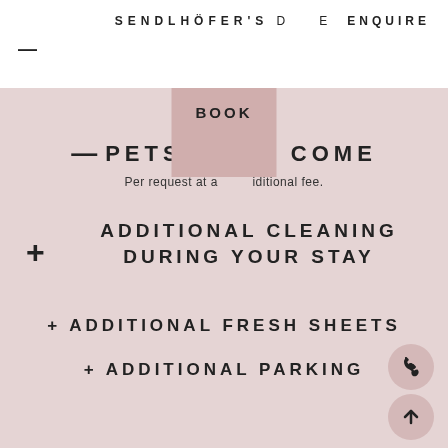SENDLHOFER'S D E   ENQUIRE
≡
BOOK
— PETS ARE WELCOME
Per request at an additional fee.
+ ADDITIONAL CLEANING DURING YOUR STAY
+ ADDITIONAL FRESH SHEETS
+ ADDITIONAL PARKING